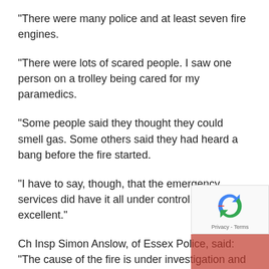“There were many police and at least seven fire engines.
“There were lots of scared people. I saw one person on a trolley being cared for my paramedics.
“Some people said they thought they could smell gas. Some others said they had heard a bang before the fire started.
“I have to say, though, that the emergency services did have it all under control. They were excellent.”
Ch Insp Simon Anslow, of Essex Police, said: “The cause of the fire is under investigation and detectives are looking at the circumstances lead... to the incident.